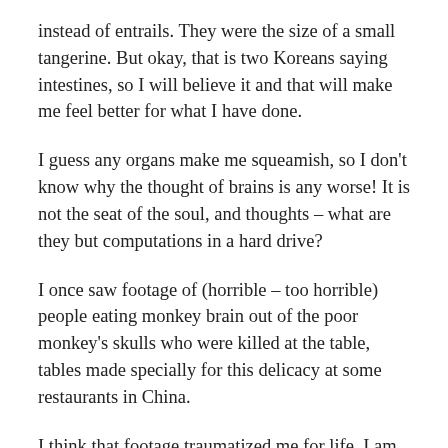instead of entrails. They were the size of a small tangerine. But okay, that is two Koreans saying intestines, so I will believe it and that will make me feel better for what I have done.
I guess any organs make me squeamish, so I don't know why the thought of brains is any worse! It is not the seat of the soul, and thoughts – what are they but computations in a hard drive?
I once saw footage of (horrible – too horrible) people eating monkey brain out of the poor monkey's skulls who were killed at the table, tables made specially for this delicacy at some restaurants in China.
I think that footage traumatized me for life. I am having a hard time forgiving myself for eating what looked like brain right now...